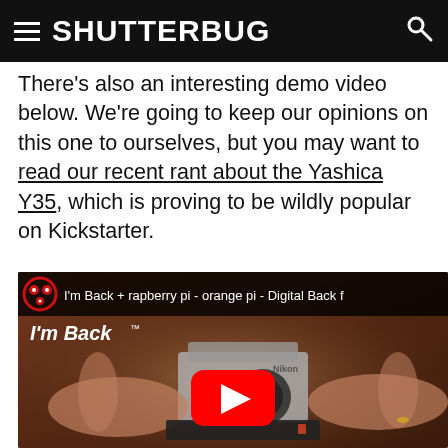SHUTTERBUG
There's also an interesting demo video below. We're going to keep our opinions on this one to ourselves, but you may want to read our recent rant about the Yashica Y35, which is proving to be wildly popular on Kickstarter.
[Figure (screenshot): YouTube video thumbnail for 'I'm Back + rapberry pi - orange pi - Digital Back f' showing hands holding a vintage Nikon camera with a digital back attached, with a red YouTube play button overlay and I'm Back logo.]